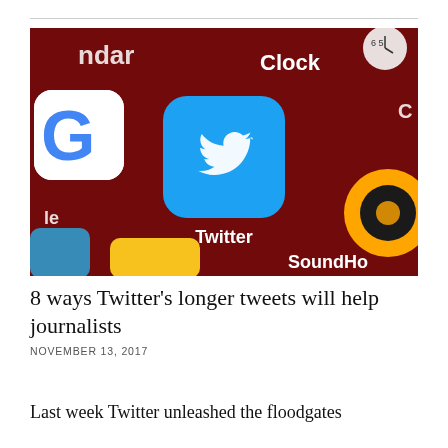[Figure (photo): Close-up photo of a smartphone screen showing app icons on a dark red background. The Twitter app icon (blue rounded square with white bird) is prominently in the center, with the label 'Twitter' below it. Other visible apps include Google (G logo), Clock, SoundHound, and partial icons of other apps.]
8 ways Twitter's longer tweets will help journalists
NOVEMBER 13, 2017
Last week Twitter unleashed the floodgates